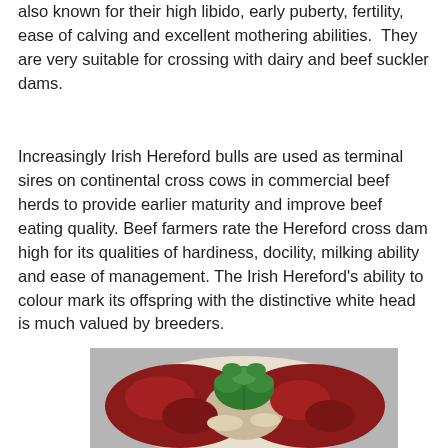also known for their high libido, early puberty, fertility, ease of calving and excellent mothering abilities.  They are very suitable for crossing with dairy and beef suckler dams.
Increasingly Irish Hereford bulls are used as terminal sires on continental cross cows in commercial beef herds to provide earlier maturity and improve beef eating quality. Beef farmers rate the Hereford cross dam high for its qualities of hardiness, docility, milking ability and ease of management. The Irish Hereford's ability to colour mark its offspring with the distinctive white head is much valued by breeders.
[Figure (photo): A cut of raw beef (Hereford) with a sprig of fresh green herbs (parsley) placed on top, viewed from above.]